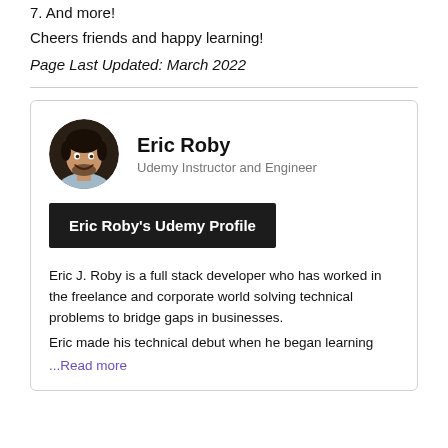7. And more!
Cheers friends and happy learning!
Page Last Updated: March 2022
[Figure (photo): Circular profile photo of Eric Roby]
Eric Roby
Udemy Instructor and Engineer
Eric Roby's Udemy Profile
Eric J. Roby is a full stack developer who has worked in the freelance and corporate world solving technical problems to bridge gaps in businesses.
Eric made his technical debut when he began learning
...Read more